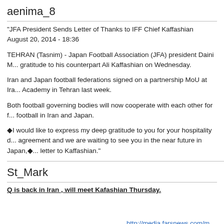aenima_8
"JFA President Sends Letter of Thanks to IFF Chief Kaffashian
August 20, 2014 - 18:36
TEHRAN (Tasnim) - Japan Football Association (JFA) president Daini M... gratitude to his counterpart Ali Kaffashian on Wednesday.
Iran and Japan football federations signed on a partnership MoU at Ira... Academy in Tehran last week.
Both football governing bodies will now cooperate with each other for f... football in Iran and Japan.
◆I would like to express my deep gratitude to you for your hospitality d... agreement and we are waiting to see you in the near future in Japan,◆... letter to Kaffashian."
St_Mark
Q is back in Iran , will meet Kafashian Thursday.
http://media.farsnews.com/m...
ایران به فوتبال کشور مان به ایران بازگشت